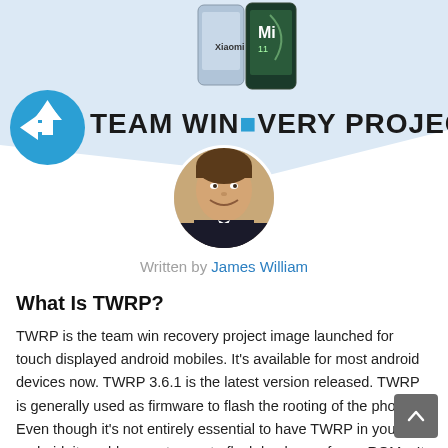[Figure (illustration): TWRP (Team Win Recovery Project) header banner with logo, phone image, and decorative blue background shape]
[Figure (photo): Circular headshot photo of James William, a man in a suit smiling]
Written by James William
What Is TWRP?
TWRP is the team win recovery project image launched for touch displayed android mobiles. It's available for most android devices now. TWRP 3.6.1 is the latest version released. TWRP is generally used as firmware to flash the rooting of the phone. Even though it's not entirely essential to have TWRP in your android, it enables you to create flash backups of your ROMs. It usually contains a kernel image used to root your devices.